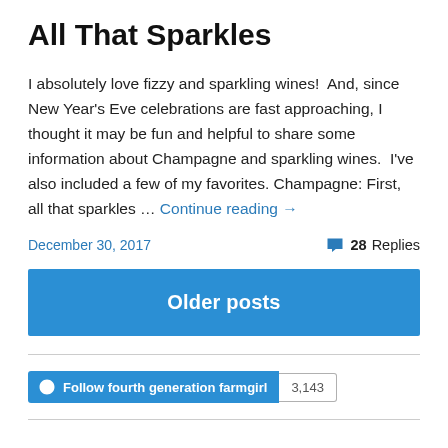All That Sparkles
I absolutely love fizzy and sparkling wines!  And, since New Year's Eve celebrations are fast approaching, I thought it may be fun and helpful to share some information about Champagne and sparkling wines.  I've also included a few of my favorites. Champagne: First, all that sparkles … Continue reading →
December 30, 2017
28 Replies
Older posts
Follow fourth generation farmgirl
3,143